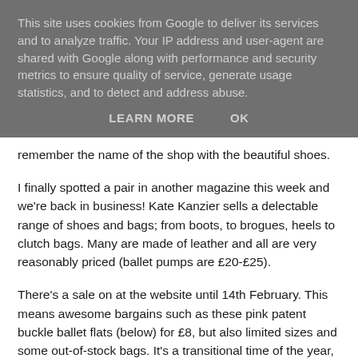This site uses cookies from Google to deliver its services and to analyze traffic. Your IP address and user-agent are shared with Google along with performance and security metrics to ensure quality of service, generate usage statistics, and to detect and address abuse.
LEARN MORE    OK
remember the name of the shop with the beautiful shoes.
I finally spotted a pair in another magazine this week and we're back in business! Kate Kanzier sells a delectable range of shoes and bags; from boots, to brogues, heels to clutch bags. Many are made of leather and all are very reasonably priced (ballet pumps are £20-£25).
There's a sale on at the website until 14th February. This means awesome bargains such as these pink patent buckle ballet flats (below) for £8, but also limited sizes and some out-of-stock bags. It's a transitional time of the year, so I expect once the sale is finished, more stock will be available.